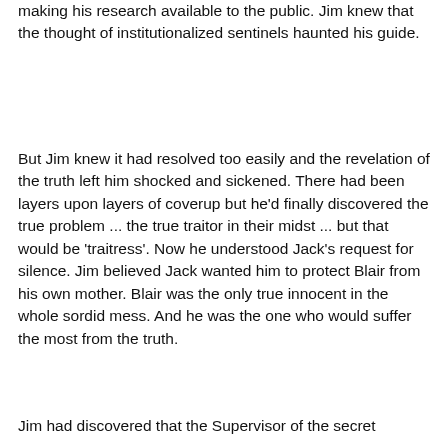making his research available to the public. Jim knew that the thought of institutionalized sentinels haunted his guide.
But Jim knew it had resolved too easily and the revelation of the truth left him shocked and sickened. There had been layers upon layers of coverup but he'd finally discovered the true problem ... the true traitor in their midst ... but that would be 'traitress'. Now he understood Jack's request for silence. Jim believed Jack wanted him to protect Blair from his own mother. Blair was the only true innocent in the whole sordid mess. And he was the one who would suffer the most from the truth.
Jim had discovered that the Supervisor of the secret